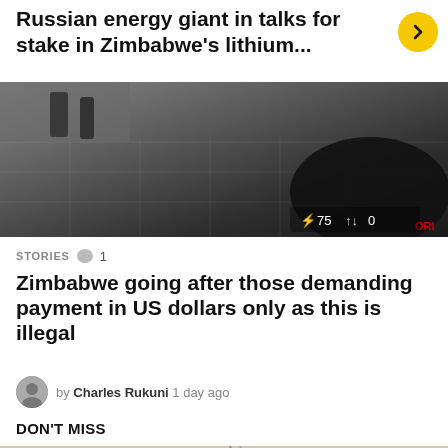Russian energy giant in talks for stake in Zimbabwe's lithium...
[Figure (photo): Dark indoor photo showing a tiled floor with a large dark object and people in the background, with overlay stats showing '75' and '0']
STORIES  1
Zimbabwe going after those demanding payment in US dollars only as this is illegal
by Charles Rukuni  1 day ago
DON'T MISS
[Figure (photo): Partial image showing text 'AFRICA' and 'GRAFT' suggesting an editorial cartoon about corruption in Africa]